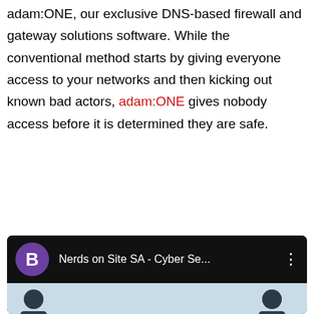adam:ONE, our exclusive DNS-based firewall and gateway solutions software. While the conventional method starts by giving everyone access to your networks and then kicking out known bad actors, adam:ONE gives nobody access before it is determined they are safe.
[Figure (other): Red rounded-rectangle call-to-action button with white bold text reading 'BOOK A CYBER SECURITY ASSESSMENT']
[Figure (screenshot): Dark video player panel showing a purple channel icon with letter B, channel name 'Nerds on Site SA - Cyber Se...', three-dot menu, and a light blue thumbnail with two dark silhouetted figures.]